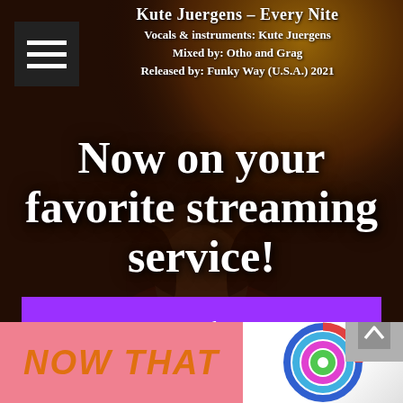[Figure (photo): Background photo of a man with long hair and beard wearing a red fur coat, in a dark moody setting with warm golden lighting]
Kute Juergens – Every Nite
Vocals & instruments: Kute Juergens
Mixed by: Otho and Grag
Released by: Funky Way (U.S.A.) 2021
Now on your favorite streaming service!
Listen here
[Figure (photo): Bottom strip showing partial text NOW THAT on pink background on the left, and a rainbow swirl logo on the right, with a grey scroll-to-top button]